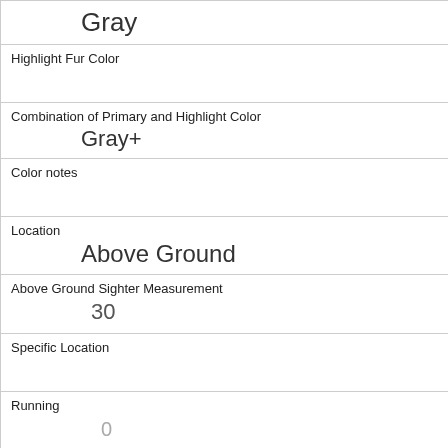| Gray |
| Highlight Fur Color |  |
| Combination of Primary and Highlight Color | Gray+ |
| Color notes |  |
| Location | Above Ground |
| Above Ground Sighter Measurement | 30 |
| Specific Location |  |
| Running | 0 |
| Chasing | 0 |
| Climbing | 0 |
| Eating | 1 |